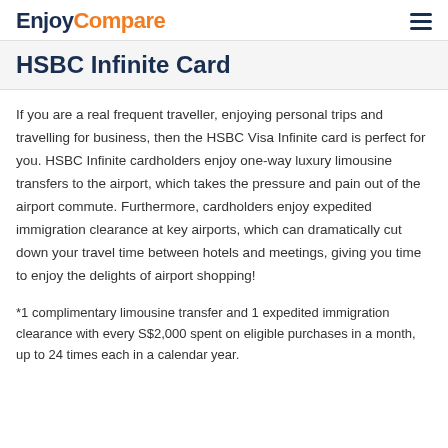EnjoyCompare
HSBC Infinite Card
If you are a real frequent traveller, enjoying personal trips and travelling for business, then the HSBC Visa Infinite card is perfect for you. HSBC Infinite cardholders enjoy one-way luxury limousine transfers to the airport, which takes the pressure and pain out of the airport commute. Furthermore, cardholders enjoy expedited immigration clearance at key airports, which can dramatically cut down your travel time between hotels and meetings, giving you time to enjoy the delights of airport shopping!
*1 complimentary limousine transfer and 1 expedited immigration clearance with every S$2,000 spent on eligible purchases in a month, up to 24 times each in a calendar year.